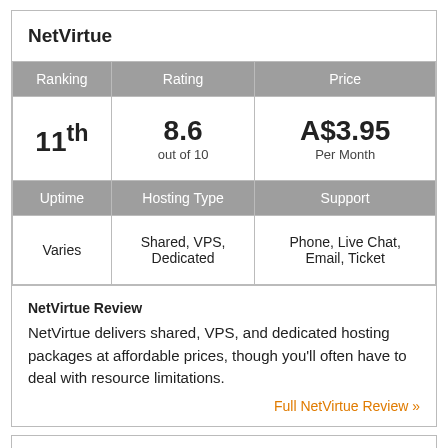NetVirtue
| Ranking | Rating | Price |
| --- | --- | --- |
| 11th | 8.6 out of 10 | A$3.95 Per Month |
| Uptime | Hosting Type | Support |
| Varies | Shared, VPS, Dedicated | Phone, Live Chat, Email, Ticket |
NetVirtue Review
NetVirtue delivers shared, VPS, and dedicated hosting packages at affordable prices, though you'll often have to deal with resource limitations.
Full NetVirtue Review »